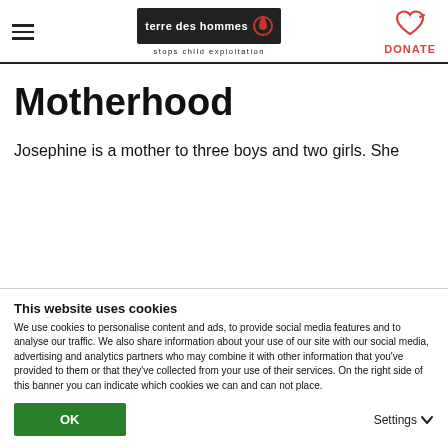terre des hommes — stops child exploitation — DONATE
Motherhood
Josephine is a mother to three boys and two girls. She
This website uses cookies
We use cookies to personalise content and ads, to provide social media features and to analyse our traffic. We also share information about your use of our site with our social media, advertising and analytics partners who may combine it with other information that you've provided to them or that they've collected from your use of their services. On the right side of this banner you can indicate which cookies we can and can not place.
OK
Settings